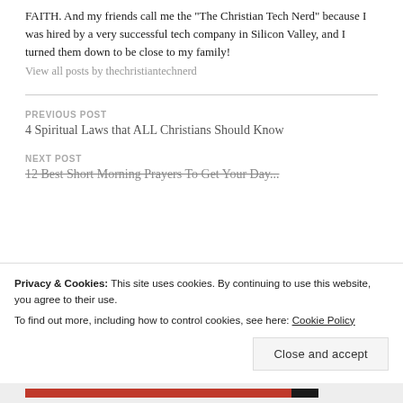FAITH. And my friends call me the "The Christian Tech Nerd" because I was hired by a very successful tech company in Silicon Valley, and I turned them down to be close to my family!
View all posts by thechristiantechnerd
PREVIOUS POST
4 Spiritual Laws that ALL Christians Should Know
NEXT POST
12 Best Short Morning Prayers To Get Your Day...
Privacy & Cookies: This site uses cookies. By continuing to use this website, you agree to their use.
To find out more, including how to control cookies, see here: Cookie Policy
Close and accept